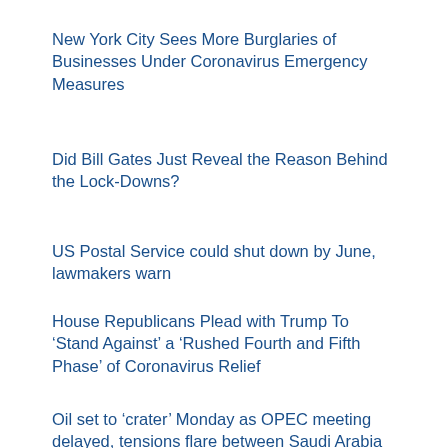New York City Sees More Burglaries of Businesses Under Coronavirus Emergency Measures
Did Bill Gates Just Reveal the Reason Behind the Lock-Downs?
US Postal Service could shut down by June, lawmakers warn
House Republicans Plead with Trump To ‘Stand Against’ a ‘Rushed Fourth and Fifth Phase’ of Coronavirus Relief
Oil set to ‘crater’ Monday as OPEC meeting delayed, tensions flare between Saudi Arabia